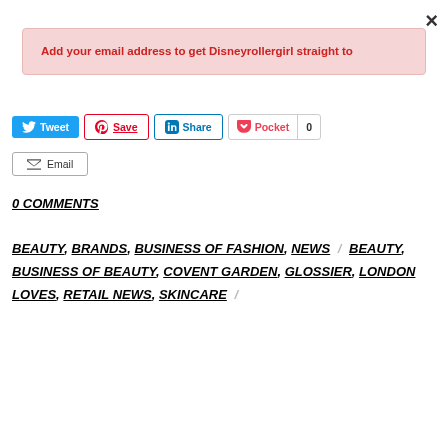×
Add your email address to get Disneyrollergirl straight to
Tweet  Save  Share  Pocket  0  Email
0 COMMENTS
BEAUTY, BRANDS, BUSINESS OF FASHION, NEWS / BEAUTY, BUSINESS OF BEAUTY, COVENT GARDEN, GLOSSIER, LONDON LOVES, RETAIL NEWS, SKINCARE /